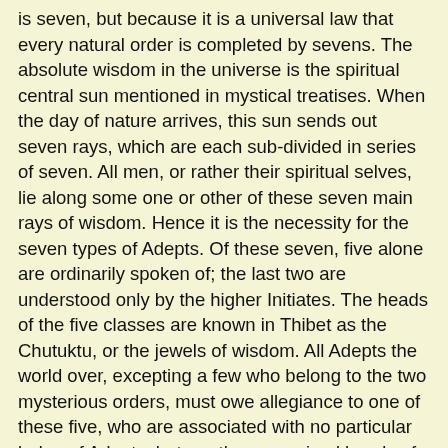is seven, but because it is a universal law that every natural order is completed by sevens. The absolute wisdom in the universe is the spiritual central sun mentioned in mystical treatises. When the day of nature arrives, this sun sends out seven rays, which are each sub-divided in series of seven. All men, or rather their spiritual selves, lie along some one or other of these seven main rays of wisdom. Hence it is the necessity for the seven types of Adepts. Of these seven, five alone are ordinarily spoken of; the last two are understood only by the higher Initiates. The heads of the five classes are known in Thibet as the Chutuktu, or the jewels of wisdom. All Adepts the world over, excepting a few who belong to the two mysterious orders, must owe allegiance to one of these five, who are associated with no particular lodge of Adepts, but are the recognized heads of all lodges, of which there are now three in existence - one in Thibet,one in Egypt, and the third has its seat in a locality which we are not permitted to mention. The Chutuktu have to visit these different lodges periodically, but they usually reside in Thibet. The two highest Adepts, so far as is known, live in an oasis in the desert of Gobi, where only the Adepts of the higher order are permitted to visit them. Their nature and character are as little understood by the ordinary Initiates as those of the Adepts by the outside world. The different lodges, though pursuing the same study upon the same general principles,